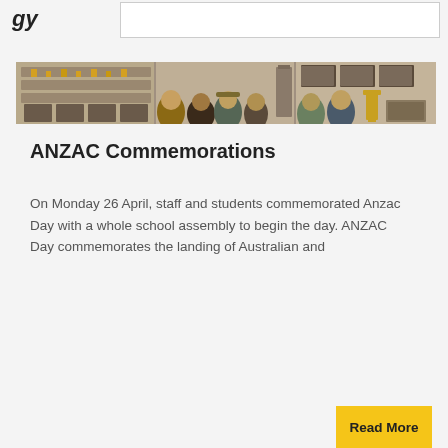gy
[Figure (photo): A horizontal panoramic strip photo showing students and staff inside a school hall or trophy room, with display cases containing trophies and framed photos on the wall behind them.]
ANZAC Commemorations
On Monday 26 April, staff and students commemorated Anzac Day with a whole school assembly to begin the day. ANZAC Day commemorates the landing of Australian and
Read More